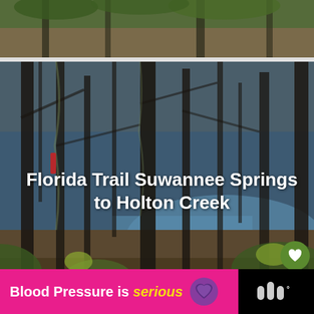[Figure (photo): Partial top photo strip showing natural scenery with foliage]
[Figure (photo): Forest trail photo showing bare trees, Spanish moss, and a blue water body in the background]
Florida Trail Suwannee Springs to Holton Creek
6
[Figure (infographic): Advertisement banner: Blood Pressure is serious with purple heart icon]